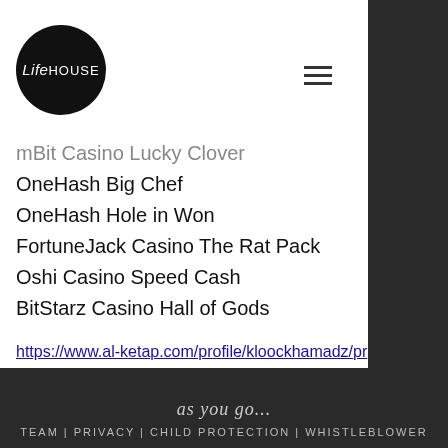[Figure (logo): LifeHouse circular black logo with stylized text]
mBit Casino Lucky Clover
OneHash Big Chef
OneHash Hole in Won
FortuneJack Casino The Rat Pack
Oshi Casino Speed Cash
BitStarz Casino Hall of Gods
https://www.al-ketap.com/profile/kloockhamadz/profile
https://www.tonyjohansson.com/profile/ardssofia0/profile
https://www.c-artwork.net/profile/torezwergins/profile
https://www.homebeforedawn.com/profile/caskagoschw/profile
Team | Privacy | Child Protection | Whistleblower